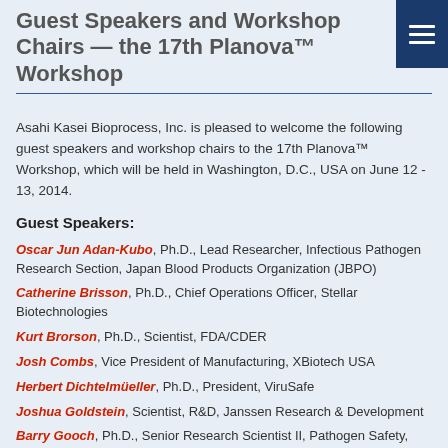Guest Speakers and Workshop Chairs — the 17th Planova™ Workshop
Asahi Kasei Bioprocess, Inc. is pleased to welcome the following guest speakers and workshop chairs to the 17th Planova™ Workshop, which will be held in Washington, D.C., USA on June 12 - 13, 2014.
Guest Speakers:
Oscar Jun Adan-Kubo, Ph.D., Lead Researcher, Infectious Pathogen Research Section, Japan Blood Products Organization (JBPO)
Catherine Brisson, Ph.D., Chief Operations Officer, Stellar Biotechnologies
Kurt Brorson, Ph.D., Scientist, FDA/CDER
Josh Combs, Vice President of Manufacturing, XBiotech USA
Herbert Dichtelmüeller, Ph.D., President, ViruSafe
Joshua Goldstein, Scientist, R&D, Janssen Research & Development
Barry Gooch, Ph.D., Senior Research Scientist II, Pathogen Safety,